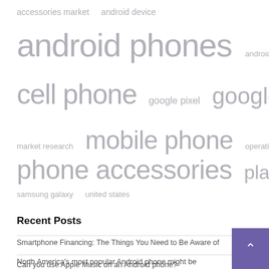[Figure (other): Tag cloud showing keywords related to Android phones and mobile devices. Tags include: accessories market, android device, android phones, android smartphone, cell phone, google pixel, google play, market research, mobile phone, operating system, phone accessories, play store, power bank, samsung galaxy, united states. Displayed in varying font sizes proportional to frequency/importance.]
Recent Posts
Smartphone Financing: The Things You Need to Be Aware of
North America's most popular Android phone might be unexpected
Can you use Apple Music on an Android phone?